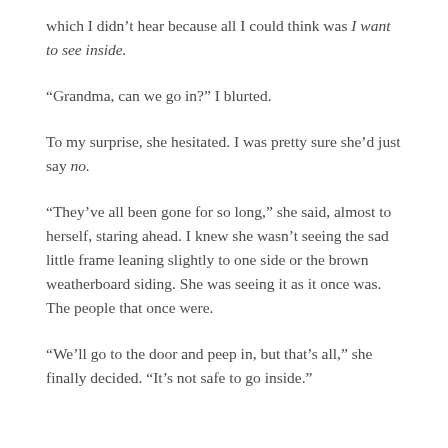which I didn't hear because all I could think was I want to see inside.
“Grandma, can we go in?” I blurted.
To my surprise, she hesitated. I was pretty sure she’d just say no.
“They’ve all been gone for so long,” she said, almost to herself, staring ahead. I knew she wasn’t seeing the sad little frame leaning slightly to one side or the brown weatherboard siding. She was seeing it as it once was. The people that once were.
“We’ll go to the door and peep in, but that’s all,” she finally decided. “It’s not safe to go inside.”